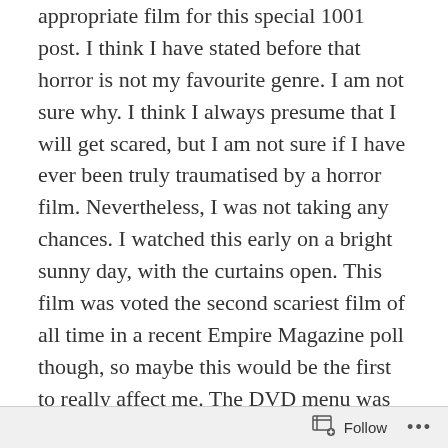appropriate film for this special 1001 post. I think I have stated before that horror is not my favourite genre. I am not sure why. I think I always presume that I will get scared, but I am not sure if I have ever been truly traumatised by a horror film. Nevertheless, I was not taking any chances. I watched this early on a bright sunny day, with the curtains open. This film was voted the second scariest film of all time in a recent Empire Magazine poll though, so maybe this would be the first to really affect me. The DVD menu was ominous; I was scared shitless just playing that, due to the incredible music playing over the top of it.
My fear continued unabated once the film started, as the same piece of music opens the movie. It is an incredible piece, made even more amazing by the fact that the music
Follow